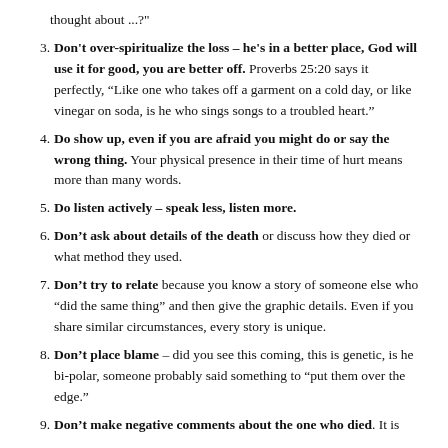thought about ...?"
3. Don't over-spiritualize the loss – he's in a better place, God will use it for good, you are better off. Proverbs 25:20 says it perfectly, “Like one who takes off a garment on a cold day, or like vinegar on soda, is he who sings songs to a troubled heart.”
4. Do show up, even if you are afraid you might do or say the wrong thing. Your physical presence in their time of hurt means more than many words.
5. Do listen actively – speak less, listen more.
6. Don't ask about details of the death or discuss how they died or what method they used.
7. Don't try to relate because you know a story of someone else who “did the same thing” and then give the graphic details. Even if you share similar circumstances, every story is unique.
8. Don't place blame – did you see this coming, this is genetic, is he bi-polar, someone probably said something to “put them over the edge.”
9. Don't make negative comments about the one who died. It is